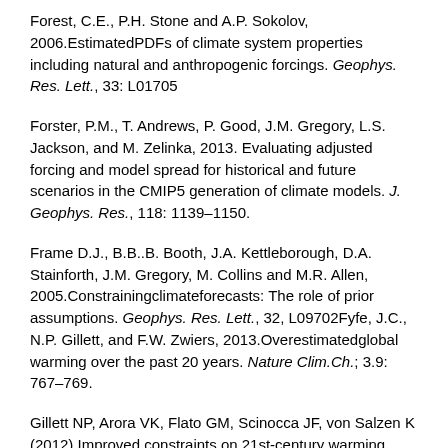Forest, C.E., P.H. Stone and A.P. Sokolov, 2006.EstimatedPDFs of climate system properties including natural and anthropogenic forcings. Geophys. Res. Lett., 33: L01705
Forster, P.M., T. Andrews, P. Good, J.M. Gregory, L.S. Jackson, and M. Zelinka, 2013. Evaluating adjusted forcing and model spread for historical and future scenarios in the CMIP5 generation of climate models. J. Geophys. Res., 118: 1139–1150.
Frame D.J., B.B..B. Booth, J.A. Kettleborough, D.A. Stainforth, J.M. Gregory, M. Collins and M.R. Allen, 2005.Constrainingclimateforecasts: The role of prior assumptions. Geophys. Res. Lett., 32, L09702Fyfe, J.C., N.P. Gillett, and F.W. Zwiers, 2013.Overestimatedglobal warming over the past 20 years. Nature Clim.Ch.; 3.9: 767–769.
Gillett NP, Arora VK, Flato GM, Scinocca JF, von Salzen K (2012) Improved constraints on 21st-century warming derived using 160 years of temperature observations.